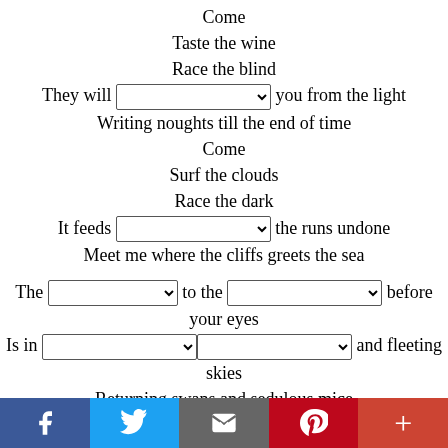Come
Taste the wine
Race the blind
They will [dropdown] you from the light
Writing noughts till the end of time
Come
Surf the clouds
Race the dark
It feeds [dropdown] the runs undone
Meet me where the cliffs greets the sea

The [dropdown] to the [dropdown] before your eyes
Is in [dropdown] [dropdown] and fleeting skies
Returning swans and sedulous mice
[dropdown] on the gardens book
In the minute of a lover's look

Building a [dropdown] [dropdown] to the shore
A [dropdown] of cards from the worn out deck
Social share bar: Facebook, Twitter, Email, Pinterest, Plus